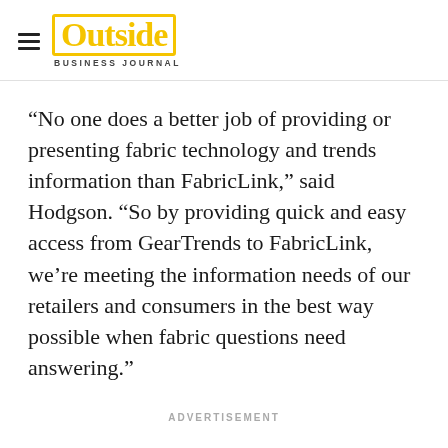Outside Business Journal
“No one does a better job of providing or presenting fabric technology and trends information than FabricLink,” said Hodgson. “So by providing quick and easy access from GearTrends to FabricLink, we’re meeting the information needs of our retailers and consumers in the best way possible when fabric questions need answering.”
ADVERTISEMENT